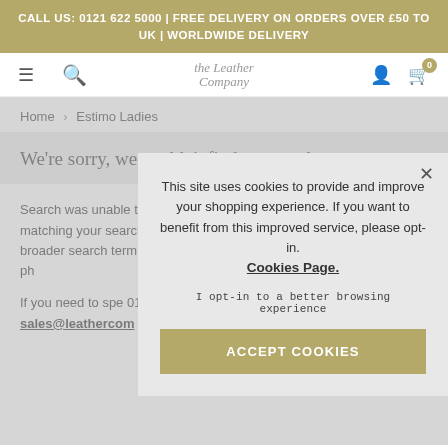CALL US: 0121 622 5000 | FREE DELIVERY ON ORDERS OVER £50 TO UK | WORLDWIDE DELIVERY
[Figure (screenshot): Navigation bar with hamburger menu, search, Leather Company logo, user account icon, and shopping cart with badge showing 0]
Home › Estimo Ladies
We're sorry, we couldn't find any results.
Search was unable to find any results matching your search phrase. Try using a broader search term to find popular search phrases.
If you need to speak to us please call us on 0121 622 4125. You can also email us at sales@leathercom
This site uses cookies to provide and improve your shopping experience. If you want to benefit from this improved service, please opt-in. Cookies Page.
I opt-in to a better browsing experience
ACCEPT COOKIES